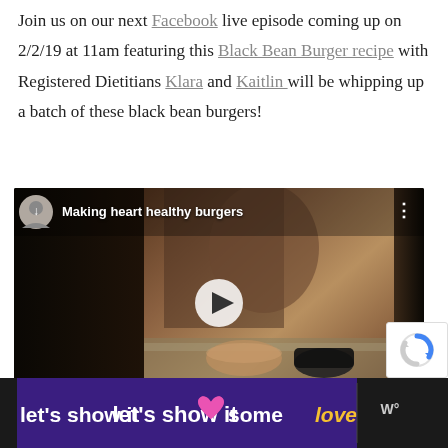Join us on our next Facebook live episode coming up on 2/2/19 at 11am featuring this Black Bean Burger recipe with Registered Dietitians Klara and Kaitlin will be whipping up a batch of these black bean burgers!
[Figure (screenshot): Embedded Facebook video player showing 'Making heart healthy burgers' with a woman cooking at a kitchen counter, mixing ingredients in a bowl. The video thumbnail shows a dark-toned indoor kitchen scene. A circular play button is visible in the center.]
[Figure (screenshot): Bottom banner advertisement with dark purple/navy background on the left reading 'let's show it some love' with a pink heart emoji and 'love' in yellow/gold italic text. Right side shows a weather or news network logo on dark background.]